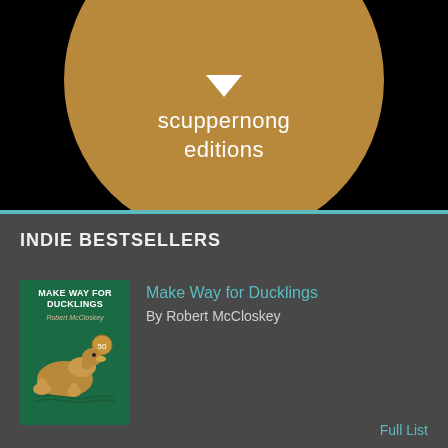[Figure (logo): Scuppernong Editions logo: a golden/tan circle on a black background with a white downward-pointing triangle and the text 'scuppernong editions' in white]
INDIE BESTSELLERS
[Figure (illustration): Cover of 'Make Way for Ducklings' by Robert McCloskey — green background with golden illustrated ducks]
Make Way for Ducklings
By Robert McCloskey
Full List